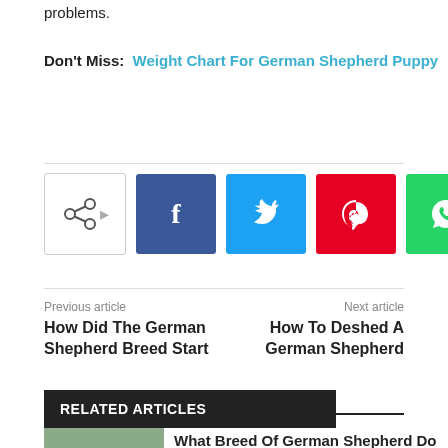problems.
Don't Miss:  Weight Chart For German Shepherd Puppy
[Figure (infographic): Social share buttons row: share icon button, Facebook (blue), Twitter (light blue), Pinterest (red), WhatsApp (green)]
Previous article
How Did The German Shepherd Breed Start
Next article
How To Deshed A German Shepherd
RELATED ARTICLES
What Breed Of German Shepherd Do